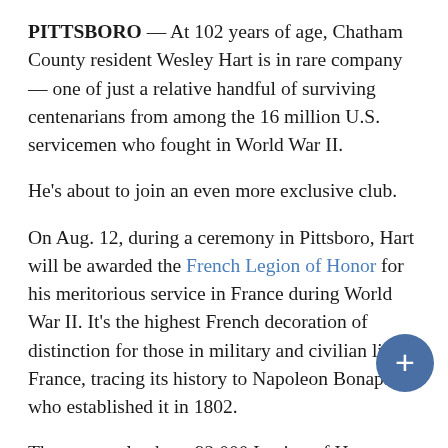PITTSBORO — At 102 years of age, Chatham County resident Wesley Hart is in rare company — one of just a relative handful of surviving centenarians from among the 16 million U.S. servicemen who fought in World War II.
He's about to join an even more exclusive club.
On Aug. 12, during a ceremony in Pittsboro, Hart will be awarded the French Legion of Honor for his meritorious service in France during World War II. It's the highest French decoration of distinction for those in military and civilian life in France, tracing its history to Napoleon Bonaparte, who established it in 1802.
There are only about 92,000 Legion of Honor members, mostly French nationals, but 300 or so foreigners are recognized with the honor each year. You can't seek Legion of Honor recognition for